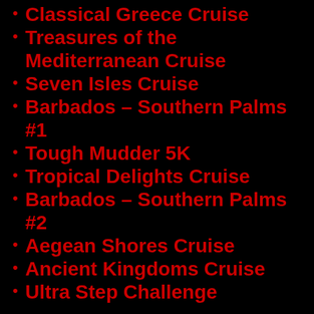Classical Greece Cruise
Treasures of the Mediterranean Cruise
Seven Isles Cruise
Barbados – Southern Palms #1
Tough Mudder 5K
Tropical Delights Cruise
Barbados – Southern Palms #2
Aegean Shores Cruise
Ancient Kingdoms Cruise
Ultra Step Challenge
Start tour from beginning
Share this: